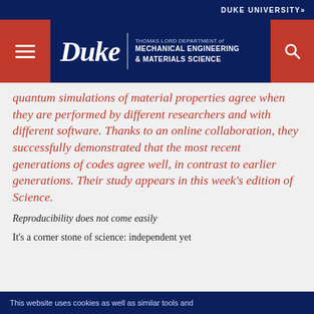DUKE UNIVERSITY»
[Figure (logo): Duke University Thomas Lord Department of Mechanical Engineering & Materials Science header with navigation menu button and search button]
quantum simulations of material properties agree when they are performed by different researchers and with different software. Thanks to an online collaboration, they successfully demonstrated that the most recent generations of codes agree well, in contrast to earlier generations. Their study appears in this week's edition of Science.
Reproducibility does not come easily
It's a corner stone of science: independent yet
This website uses cookies as well as similar tools and